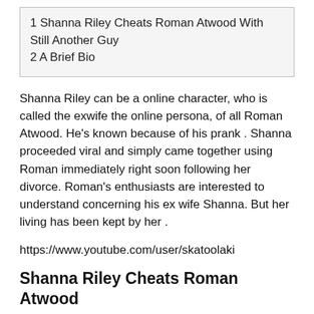1 Shanna Riley Cheats Roman Atwood With Still Another Guy
2 A Brief Bio
Shanna Riley can be a online character, who is called the exwife the online persona, of all Roman Atwood. He’s known because of his prank . Shanna proceeded viral and simply came together using Roman immediately right soon following her divorce. Roman’s enthusiasts are interested to understand concerning his ex wife Shanna. But her living has been kept by her .
https://www.youtube.com/user/skatoolaki
Shanna Riley Cheats Roman Atwood